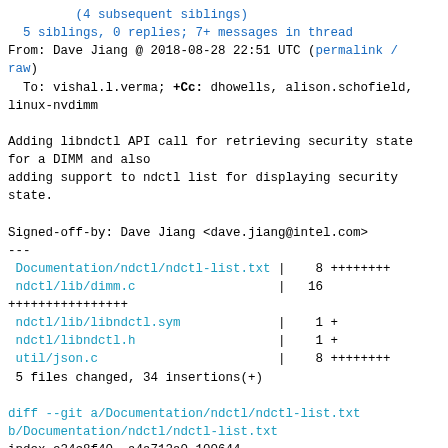(4 subsequent siblings)
5 siblings, 0 replies; 7+ messages in thread
From: Dave Jiang @ 2018-08-28 22:51 UTC (permalink / raw)
  To: vishal.l.verma; +Cc: dhowells, alison.schofield, linux-nvdimm

Adding libndctl API call for retrieving security state for a DIMM and also
adding support to ndctl list for displaying security state.

Signed-off-by: Dave Jiang <dave.jiang@intel.com>
---
 Documentation/ndctl/ndctl-list.txt |    8 ++++++++
 ndctl/lib/dimm.c                   |   16
++++++++++++++++
 ndctl/lib/libndctl.sym             |    1 +
 ndctl/libndctl.h                   |    1 +
 util/json.c                        |    8 ++++++++
 5 files changed, 34 insertions(+)

diff --git a/Documentation/ndctl/ndctl-list.txt b/Documentation/ndctl/ndctl-list.txt
index e24c8f40..a4a712a0 100644
--- a/Documentation/ndctl/ndctl-list.txt
+++ b/Documentation/ndctl/ndctl-list.txt
@@ -98,6 +98,14 @@ include::xable-region-options.txt[]
 -D::
 --dimms::